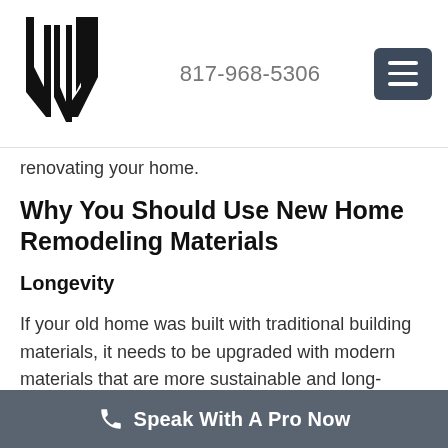[Figure (logo): Black stylized letters UW or VW logo mark]
817-968-5306
[Figure (other): Hamburger menu icon button with three horizontal lines on dark blue-grey background]
renovating your home.
Why You Should Use New Home Remodeling Materials
Longevity
If your old home was built with traditional building materials, it needs to be upgraded with modern materials that are more sustainable and long-lasting. Whether you are planning to live in
Speak With A Pro Now